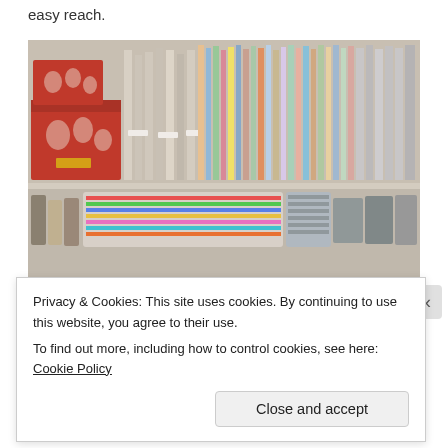easy reach.
[Figure (photo): Craft supply shelving unit showing three shelves: top shelf with red patterned boxes, colorful paper/folder collections standing upright with labels; middle shelf with spools of ribbon and thread, wire bins holding fabric and bags; bottom shelf with bowls of colorful buttons/embellishments, framed craft projects, and miscellaneous supplies.]
Privacy & Cookies: This site uses cookies. By continuing to use this website, you agree to their use.
To find out more, including how to control cookies, see here: Cookie Policy
Close and accept